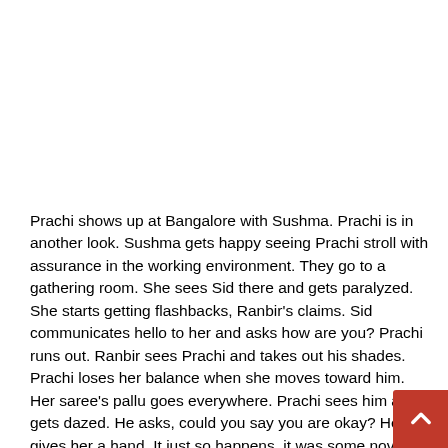Prachi shows up at Bangalore with Sushma. Prachi is in another look. Sushma gets happy seeing Prachi stroll with assurance in the working environment. They go to a gathering room. She sees Sid there and gets paralyzed. She starts getting flashbacks, Ranbir's claims. Sid communicates hello to her and asks how are you? Prachi runs out. Ranbir sees Prachi and takes out his shades. Prachi loses her balance when she moves toward him. Her saree's pallu goes everywhere. Prachi sees him and gets dazed. He asks, could you say you are okay? He gives her a hand. It just so happens, it was some novel youngster w fell near Ranbir and Prachi tumbled down elsewhere an